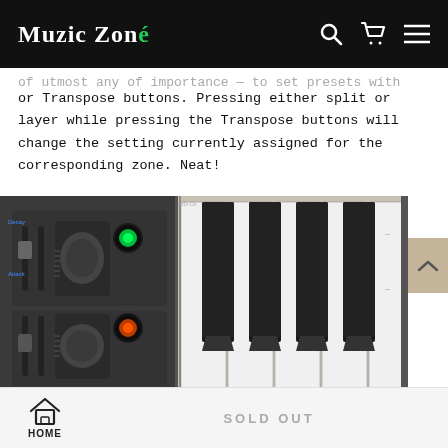Muzic Zoné — navigation header with search, cart, and menu icons
or Transpose buttons. Pressing either split or layer while pressing the Transpose buttons will change the setting currently assigned for the corresponding zone. Neat!
[Figure (photo): Close-up photo of a synthesizer/keyboard instrument showing the control panel on the left with sliders, knobs, and input jacks (with green and orange LED rings), and the keyboard keys on the right showing black and white piano keys.]
HOME | SOLD OUT